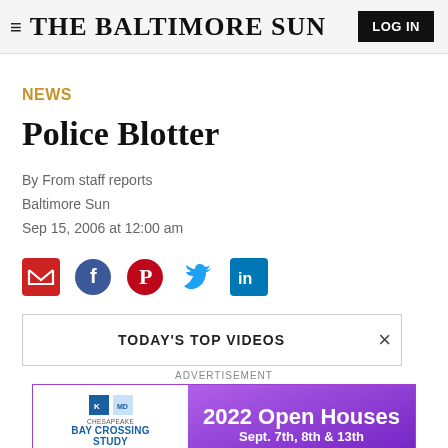THE BALTIMORE SUN
NEWS
Police Blotter
By From staff reports
Baltimore Sun
Sep 15, 2006 at 12:00 am
[Figure (infographic): Social share icons: email (red envelope), Facebook (blue circle with f), Pinterest (red circle with P), Twitter (blue bird), LinkedIn (blue square with in)]
TODAY'S TOP VIDEOS
ADVERTISEMENT
[Figure (infographic): Advertisement banner for Chesapeake Bay Crossing Study Tier 2 NEPA. Left side: white background with logos and text 'CHESAPEAKE BAY CROSSING STUDY TIER 2 NEPA'. Right side: purple gradient background with text '2022 Open Houses Sept. 7th, 8th & 13th']